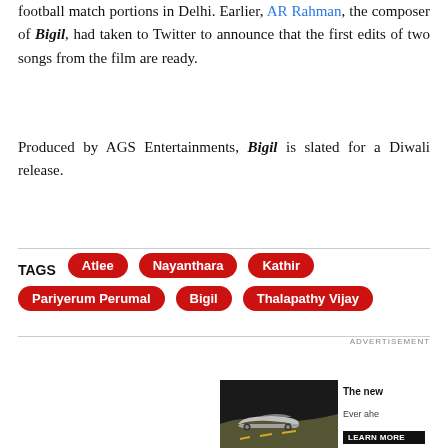football match portions in Delhi. Earlier, AR Rahman, the composer of Bigil, had taken to Twitter to announce that the first edits of two songs from the film are ready.
Produced by AGS Entertainments, Bigil is slated for a Diwali release.
TAGS  Atlee  Nayanthara  Kathir  Pariyerum Perumal  Bigil  Thalapathy Vijay
[Figure (screenshot): Advertisement banner showing a Porsche car on a road with text 'The new' and 'Ever ahe' and a LEARN MORE button]